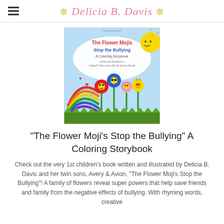❊ Delicia B. Davis ❊
[Figure (illustration): Book cover of 'The Flower Moji's Stop the Bullying: A Coloring Storybook' featuring cartoon flowers with emoji faces, a rainbow, hearts, and a sun on a light blue background. Written and illustrated by Delicia B. Davis, Avery Burrell, & Avion Burrell.]
"The Flower Moji's Stop the Bullying" A Coloring Storybook
Check out the very 1st children's book written and illustrated by Delicia B. Davis and her twin sons, Avery & Avion, "The Flower Moji's Stop the Bullying"! A family of flowers reveal super powers that help save friends and family from the negative effects of bullying. With rhyming words, creative